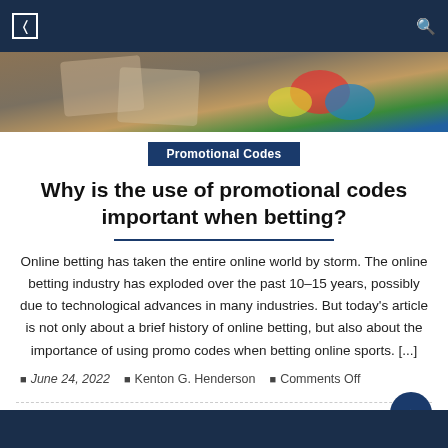Navigation bar with menu icon and search icon
[Figure (photo): Hero image showing casino chips and playing cards on a surface, colorful gambling elements]
Promotional Codes
Why is the use of promotional codes important when betting?
Online betting has taken the entire online world by storm. The online betting industry has exploded over the past 10-15 years, possibly due to technological advances in many industries. But today's article is not only about a brief history of online betting, but also about the importance of using promo codes when betting online sports. [...]
June 24, 2022   Kenton G. Henderson   Comments Off